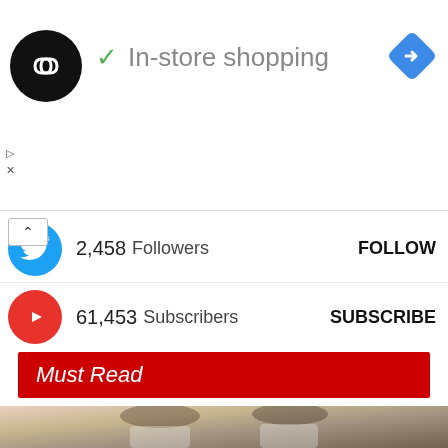[Figure (screenshot): Ad banner with circular black logo with infinite/chain-link symbol, green checkmark, text 'In-store shopping', and blue diamond navigation icon top right. Below are small play/close icons.]
2,458  Followers
FOLLOW
61,453  Subscribers
SUBSCRIBE
Must Read
[Figure (photo): Photo of two people, a woman and a man wearing white sunglasses, against a gold/yellow background. Image is partially visible at bottom of page.]